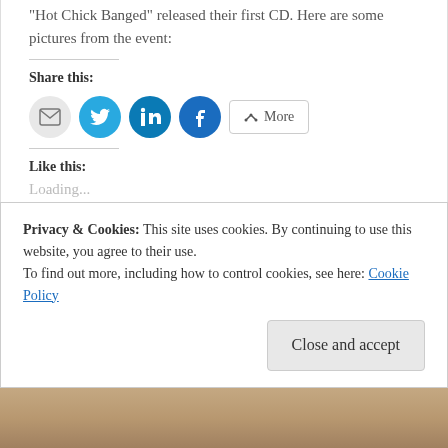“Hot Chick Banged” released their first CD. Here are some pictures from the event:
Share this:
[Figure (infographic): Social sharing buttons: email (grey circle), Twitter (blue circle), LinkedIn (dark blue circle), Facebook (blue circle), and a More button]
Like this:
Loading...
Privacy & Cookies: This site uses cookies. By continuing to use this website, you agree to their use.
To find out more, including how to control cookies, see here: Cookie Policy
Close and accept
[Figure (photo): Bottom strip showing partial photo]